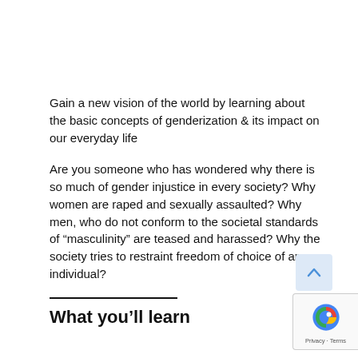Gain a new vision of the world by learning about the basic concepts of genderization & its impact on our everyday life
Are you someone who has wondered why there is so much of gender injustice in every society? Why women are raped and sexually assaulted? Why men, who do not conform to the societal standards of “masculinity” are teased and harassed? Why the society tries to restraint freedom of choice of an individual?
What you’ll learn